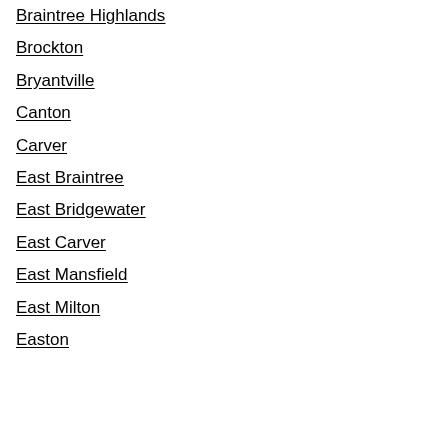Braintree Highlands
Brockton
Bryantville
Canton
Carver
East Braintree
East Bridgewater
East Carver
East Mansfield
East Milton
Easton